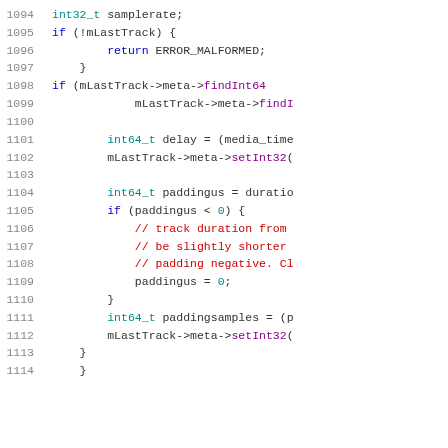[Figure (screenshot): Source code listing in a monospace font with syntax highlighting, showing lines 1094–1114 of a C/C++ file. Line numbers appear in gray on the left. Keywords and types appear in blue/teal, function names in dark magenta, comments in red, and punctuation in dark gray.]